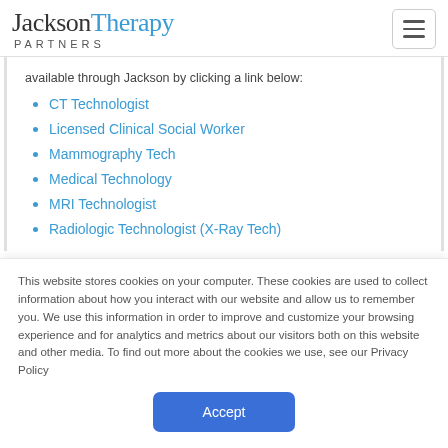JacksonTherapy PARTNERS
available through Jackson by clicking a link below:
CT Technologist
Licensed Clinical Social Worker
Mammography Tech
Medical Technology
MRI Technologist
Radiologic Technologist (X-Ray Tech)
This website stores cookies on your computer. These cookies are used to collect information about how you interact with our website and allow us to remember you. We use this information in order to improve and customize your browsing experience and for analytics and metrics about our visitors both on this website and other media. To find out more about the cookies we use, see our Privacy Policy